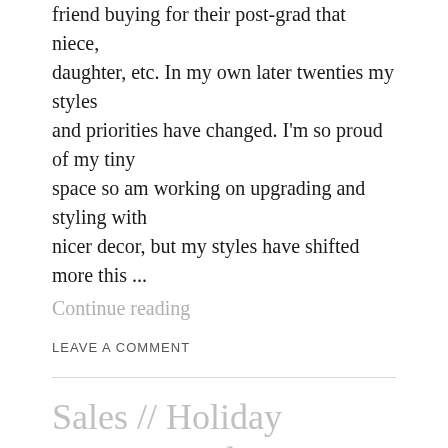friend buying for their post-grad that niece, daughter, etc. In my own later twenties my styles and priorities have changed. I'm so proud of my tiny space so am working on upgrading and styling with nicer decor, but my styles have shifted more this ...
Continue reading
LEAVE A COMMENT
Sales // Holiday Coupon Codes
So, besides providing gift guides this year, I want my page to be a resource you can find coupon codes and sales! Bookmark this page, as I will be periodically updating with more codes and sales throughout the month! Check out some worthwhile sales below! Cole Haan // 70% off site wide + Extra 10% off with code “THEBEST” Goodnight Macaroon // 40% off with  Continue reading